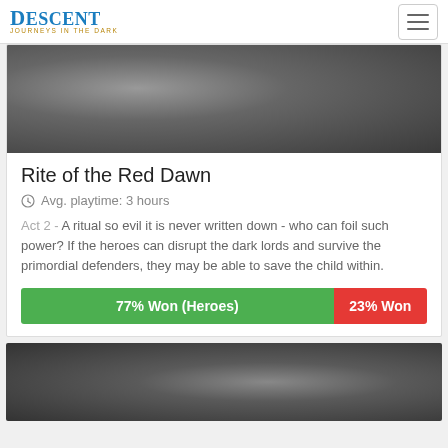DESCENT (logo) — hamburger menu button
[Figure (photo): Dark gray textured background image, appears to be a game card image for 'Rite of the Red Dawn']
Rite of the Red Dawn
Avg. playtime: 3 hours
Act 2 - A ritual so evil it is never written down - who can foil such power? If the heroes can disrupt the dark lords and survive the primordial defenders, they may be able to save the child within.
[Figure (bar-chart): Win percentage]
[Figure (photo): Dark gray textured background image, bottom card image partially visible]